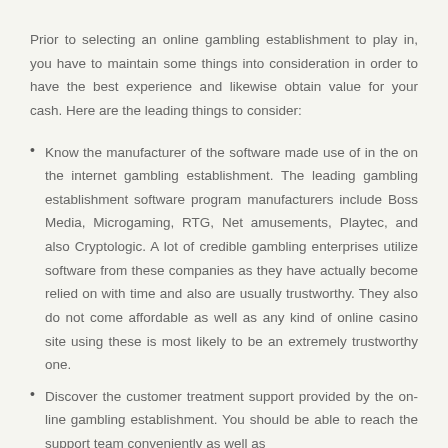Prior to selecting an online gambling establishment to play in, you have to maintain some things into consideration in order to have the best experience and likewise obtain value for your cash. Here are the leading things to consider:
Know the manufacturer of the software made use of in the on the internet gambling establishment. The leading gambling establishment software program manufacturers include Boss Media, Microgaming, RTG, Net amusements, Playtec, and also Cryptologic. A lot of credible gambling enterprises utilize software from these companies as they have actually become relied on with time and also are usually trustworthy. They also do not come affordable as well as any kind of online casino site using these is most likely to be an extremely trustworthy one.
Discover the customer treatment support provided by the on-line gambling establishment. You should be able to reach the support team conveniently as well as